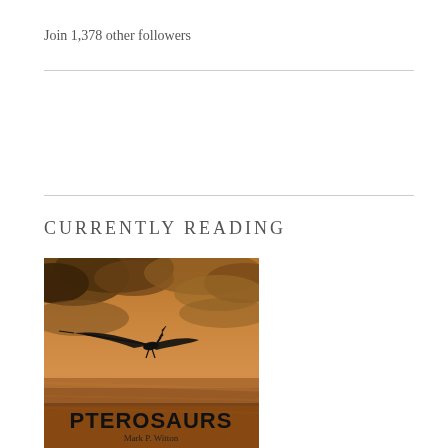Join 1,378 other followers
CURRENTLY READING
[Figure (illustration): Book cover of 'Pterosaurs' by Mark P. Witton, showing a pterosaur flying against a dramatic orange and brown cloudy sky background. The title 'PTEROSAURS' is displayed in large black text at the bottom, with author name 'Mark P. Witton' below it.]